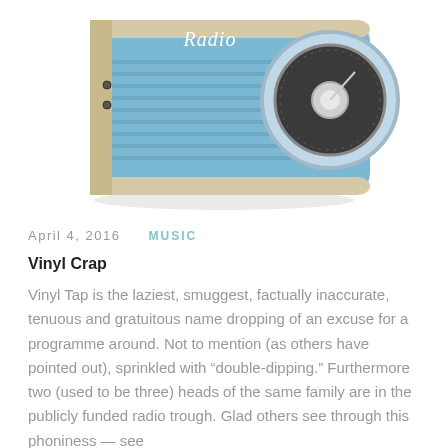[Figure (photo): A retro-style light blue portable radio with the word 'Radio' written on it in cursive script, featuring a circular tuner dial on the right side and horizontal rib lines on the body.]
April 4, 2016    MUSIC
Vinyl Crap
Vinyl Tap is the laziest, smuggest, factually inaccurate, tenuous and gratuitous name dropping of an excuse for a programme around. Not to mention (as others have pointed out), sprinkled with “double-dipping.” Furthermore two (used to be three) heads of the same family are in the publicly funded radio trough. Glad others see through this phoniness — see